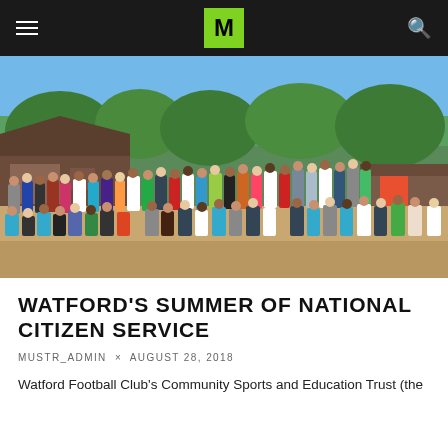M
[Figure (photo): Large group photo of young people outdoors near wooden buildings and trees on a sunny day, taken from above ground level. People are standing and kneeling in rows.]
WATFORD'S SUMMER OF NATIONAL CITIZEN SERVICE
MUSTR_ADMIN × AUGUST 28, 2018
Watford Football Club's Community Sports and Education Trust (the